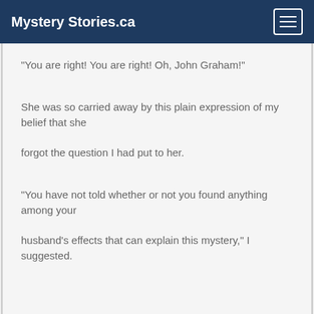Mystery Stories.ca
"You are right! You are right! Oh, John Graham!"
She was so carried away by this plain expression of my belief that she forgot the question I had put to her.
"You have not told whether or not you found anything among your husband's effects that can explain this mystery," I suggested.